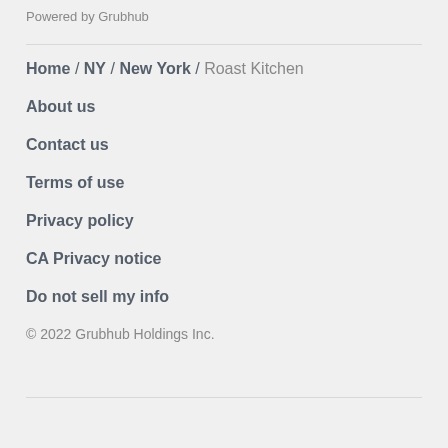Powered by Grubhub
Home / NY / New York / Roast Kitchen
About us
Contact us
Terms of use
Privacy policy
CA Privacy notice
Do not sell my info
© 2022 Grubhub Holdings Inc.